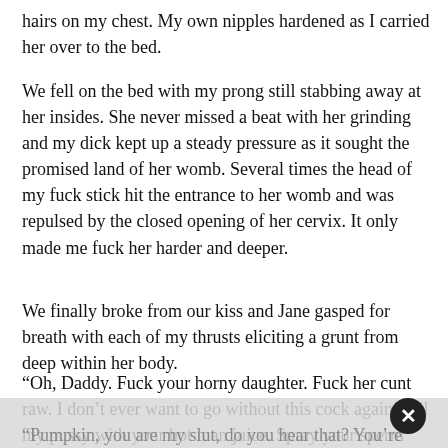hairs on my chest. My own nipples hardened as I carried her over to the bed.
We fell on the bed with my prong still stabbing away at her insides. She never missed a beat with her grinding and my dick kept up a steady pressure as it sought the promised land of her womb. Several times the head of my fuck stick hit the entrance to her womb and was repulsed by the closed opening of her cervix. It only made me fuck her harder and deeper.
We finally broke from our kiss and Jane gasped for breath with each of my thrusts eliciting a grunt from deep within her body.
“Oh, Daddy. Fuck your horny daughter. Fuck her cunt raw. I don’t ever want to go without this cock again! Fill my pussy with your hot man juice. Spray your sperm inside my aching pussy.”
“Pumpkin, you are my slut, do you hear that? You’re